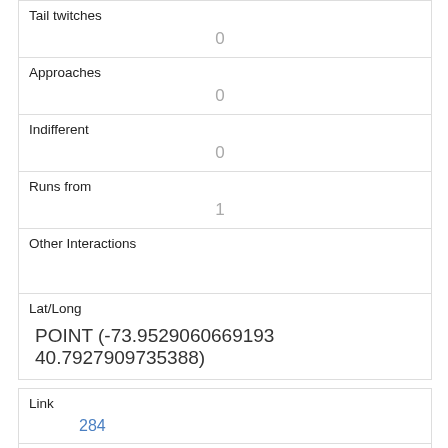| Tail twitches | 0 |
| Approaches | 0 |
| Indifferent | 0 |
| Runs from | 1 |
| Other Interactions |  |
| Lat/Long | POINT (-73.9529060669193 40.7927909735388) |
| Link | 284 |
| rowid | 284 |
| longitude | -73.9547336666137 |
| latitude |  |